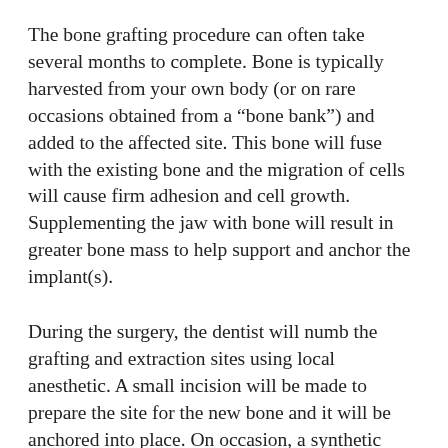The bone grafting procedure can often take several months to complete. Bone is typically harvested from your own body (or on rare occasions obtained from a “bone bank”) and added to the affected site. This bone will fuse with the existing bone and the migration of cells will cause firm adhesion and cell growth. Supplementing the jaw with bone will result in greater bone mass to help support and anchor the implant(s).
During the surgery, the dentist will numb the grafting and extraction sites using local anesthetic. A small incision will be made to prepare the site for the new bone and it will be anchored into place. On occasion, a synthetic membrane may be used to cover the new bone. This membrane prevents soft tissue and bacterial invasions, and encourages new bone growth. The surgery does not require an overnight stay, and you will be provided with comprehensive instructions for your post-operative care. The dentist will prescribe medications to help manage infection, discomfort and